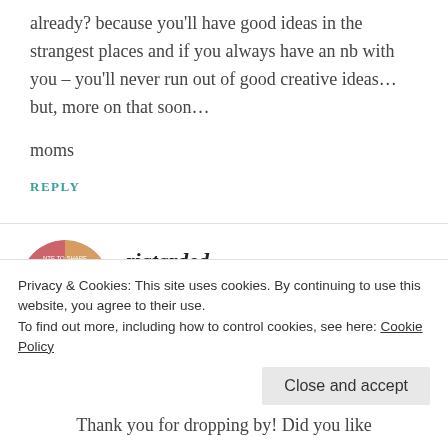already? because you'll have good ideas in the strangest places and if you always have an nb with you – you'll never run out of good creative ideas... but, more on that soon...
moms
REPLY
riatarded
Privacy & Cookies: This site uses cookies. By continuing to use this website, you agree to their use.
To find out more, including how to control cookies, see here: Cookie Policy
Close and accept
Thank you for dropping by! Did you like